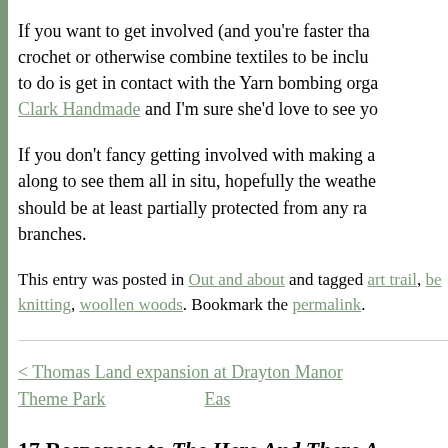If you want to get involved (and you're faster than crochet or otherwise combine textiles to be inclu to do is get in contact with the Yarn bombing orga Clark Handmade and I'm sure she'd love to see yo
If you don't fancy getting involved with making a along to see them all in situ, hopefully the weathe should be at least partially protected from any ra branches.
This entry was posted in Out and about and tagged art trail, be knitting, woollen woods. Bookmark the permalink.
< Thomas Thomas Land expansion at Drayton Manor Theme Park    Eas
17 Responses to The Here And There A Woods in Belper, Derbyshire.